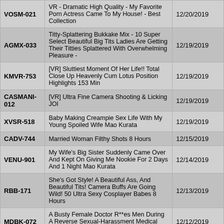| ID | Title | Date |
| --- | --- | --- |
| VOSM-021 | VR - Dramatic High Quality - My Favorite Porn Actress Came To My House! - Best Collection | 12/20/2019 |
| AGMX-033 | Titty-Splattering Bukkake Mix - 10 Super Select Beautiful Big Tits Ladies Are Getting Their Titties Splattered With Overwhelming Pleasure - | 12/19/2019 |
| KMVR-753 | [VR] Sluttiest Moment Of Her Life!! Total Close Up Heavenly Cum Lotus Position Highlights 153 Min | 12/19/2019 |
| CASMANI-012 | [VR] Ultra Fine Camera Shooting & Licking JOI | 12/19/2019 |
| XVSR-518 | Baby Making Creampie Sex Life With My Young Spoiled Wife Mao Kurata | 12/19/2019 |
| CADV-744 | Married Woman Filthy Shots 8 Hours | 12/15/2019 |
| VENU-901 | My Wife's Big Sister Suddenly Came Over And Kept On Giving Me Nookie For 2 Days And 1 Night Mao Kurata | 12/14/2019 |
| RBB-171 | She's Got Style! A Beautiful Ass, And Beautiful Tits! Camera Buffs Are Going Wild! 50 Ultra Sexy Cosplayer Babes 8 Hours | 12/13/2019 |
| MDBK-072 | A Busty Female Doctor R**es Men During A Reverse Sexual-Harassment Medical Exam 2 | 12/12/2019 |